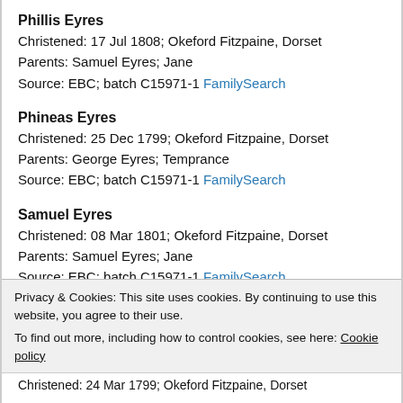Phillis Eyres
Christened: 17 Jul 1808; Okeford Fitzpaine, Dorset
Parents: Samuel Eyres; Jane
Source: EBC; batch C15971-1 FamilySearch
Phineas Eyres
Christened: 25 Dec 1799; Okeford Fitzpaine, Dorset
Parents: George Eyres; Temprance
Source: EBC; batch C15971-1 FamilySearch
Samuel Eyres
Christened: 08 Mar 1801; Okeford Fitzpaine, Dorset
Parents: Samuel Eyres; Jane
Source: EBC; batch C15971-1 FamilySearch
Privacy & Cookies: This site uses cookies. By continuing to use this website, you agree to their use.
To find out more, including how to control cookies, see here: Cookie policy
Close and accept
Christened: 24 Mar 1799; Okeford Fitzpaine, Dorset